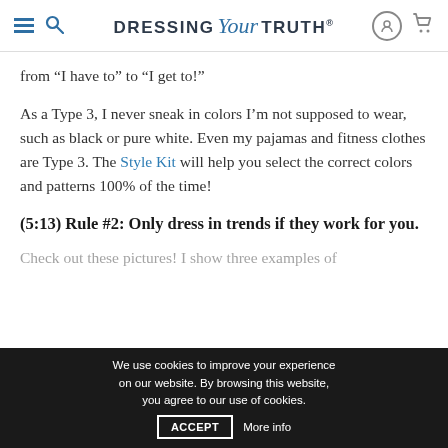DRESSING Your TRUTH®
from “I have to” to “I get to!”
As a Type 3, I never sneak in colors I’m not supposed to wear, such as black or pure white. Even my pajamas and fitness clothes are Type 3. The Style Kit will help you select the correct colors and patterns 100% of the time!
(5:13) Rule #2: Only dress in trends if they work for you.
Check out these pictures! I show three examples of each trend and ones that worked,
We use cookies to improve your experience on our website. By browsing this website, you agree to our use of cookies.